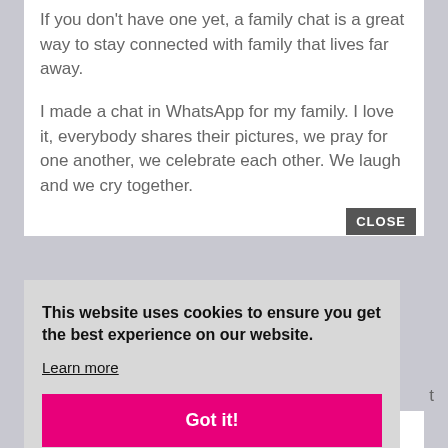If you don't have one yet, a family chat is a great way to stay connected with family that lives far away.
I made a chat in WhatsApp for my family. I love it, everybody shares their pictures, we pray for one another, we celebrate each other. We laugh and we cry together.
This website uses cookies to ensure you get the best experience on our website.
Learn more
Got it!
time here on earth it's important.